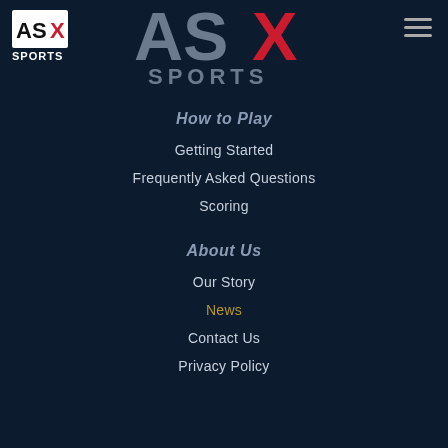[Figure (logo): ASX Sports small logo top-left corner, white text ASX with red X, SPORTS below]
[Figure (logo): ASX Sports large centered logo, gray ASX with red X, SPORTS below in gray]
[Figure (other): Hamburger menu icon top-right, three horizontal lines]
How to Play
Getting Started
Frequently Asked Questions
Scoring
About Us
Our Story
News
Contact Us
Privacy Policy